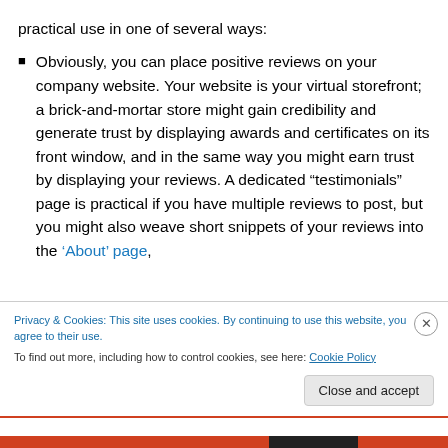practical use in one of several ways:
Obviously, you can place positive reviews on your company website. Your website is your virtual storefront; a brick-and-mortar store might gain credibility and generate trust by displaying awards and certificates on its front window, and in the same way you might earn trust by displaying your reviews. A dedicated “testimonials” page is practical if you have multiple reviews to post, but you might also weave short snippets of your reviews into the ‘About’ page,
Privacy & Cookies: This site uses cookies. By continuing to use this website, you agree to their use.
To find out more, including how to control cookies, see here: Cookie Policy